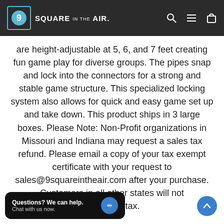9 SQUARE IN THE AIR
are height-adjustable at 5, 6, and 7 feet creating fun game play for diverse groups. The pipes snap and lock into the connectors for a strong and stable game structure. This specialized locking system also allows for quick and easy game set up and take down. This product ships in 3 large boxes. Please Note: Non-Profit organizations in Missouri and Indiana may request a sales tax refund. Please email a copy of your tax exempt certificate with your request to sales@9squareintheair.com after your purchase. Customers in all other states will not [be char]ged sales tax.